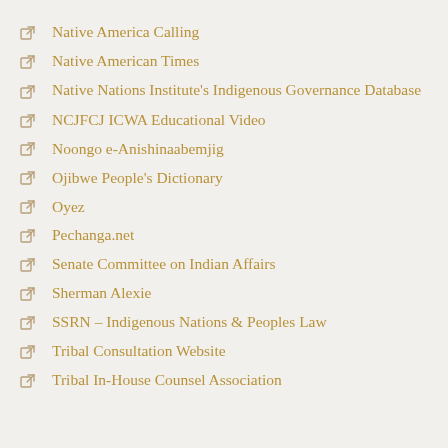Native America Calling
Native American Times
Native Nations Institute's Indigenous Governance Database
NCJFCJ ICWA Educational Video
Noongo e-Anishinaabemjig
Ojibwe People's Dictionary
Oyez
Pechanga.net
Senate Committee on Indian Affairs
Sherman Alexie
SSRN – Indigenous Nations & Peoples Law
Tribal Consultation Website
Tribal In-House Counsel Association